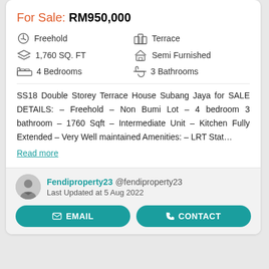For Sale: RM950,000
Freehold
Terrace
1,760 SQ. FT
Semi Furnished
4 Bedrooms
3 Bathrooms
SS18 Double Storey Terrace House Subang Jaya for SALE DETAILS: – Freehold – Non Bumi Lot – 4 bedroom 3 bathroom – 1760 Sqft – Intermediate Unit – Kitchen Fully Extended – Very Well maintained Amenities: – LRT Stat...
Read more
Fendiproperty23 @fendiproperty23
Last Updated at 5 Aug 2022
EMAIL
CONTACT